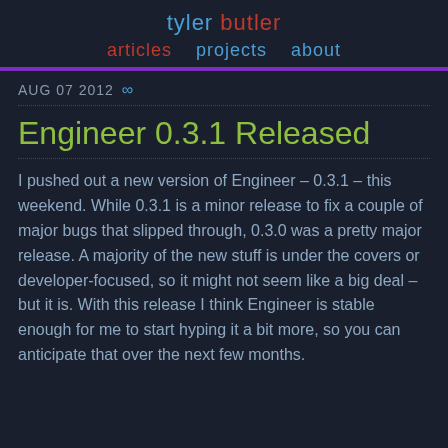tyler butler
articles  projects  about
AUG 07 2012 ∞
Engineer 0.3.1 Released
I pushed out a new version of Engineer – 0.3.1 – this weekend. While 0.3.1 is a minor release to fix a couple of major bugs that slipped through, 0.3.0 was a pretty major release. A majority of the new stuff is under the covers or developer-focused, so it might not seem like a big deal – but it is. With this release I think Engineer is stable enough for me to start hyping it a bit more, so you can anticipate that over the next few months.